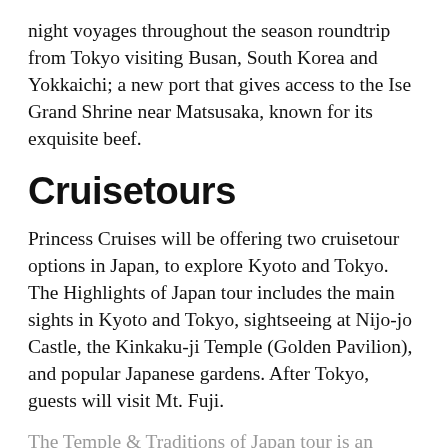night voyages throughout the season roundtrip from Tokyo visiting Busan, South Korea and Yokkaichi; a new port that gives access to the Ise Grand Shrine near Matsusaka, known for its exquisite beef.
Cruisetours
Princess Cruises will be offering two cruisetour options in Japan, to explore Kyoto and Tokyo.  The Highlights of Japan tour includes the main sights in Kyoto and Tokyo, sightseeing at Nijo-jo Castle, the Kinkaku-ji Temple (Golden Pavilion), and popular Japanese gardens.  After Tokyo, guests will visit Mt. Fuji.
The Temple & Traditions of Japan tour is an extended version of the highlights tour with two additional